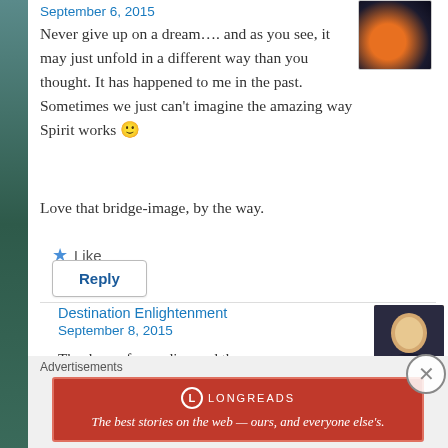September 6, 2015
[Figure (photo): Circular nebula image with orange and blue glow, resembling a cosmic ring.]
Never give up on a dream.... and as you see, it may just unfold in a different way than you thought. It has happened to me in the past. Sometimes we just can't imagine the amazing way Spirit works 🙂
Love that bridge-image, by the way.
Like
Reply
Destination Enlightenment
September 8, 2015
[Figure (photo): Portrait photo of a blonde woman smiling.]
Thank you for reading and the
Advertisements
[Figure (other): Longreads advertisement banner. Red background. Text: The best stories on the web — ours, and everyone else's.]